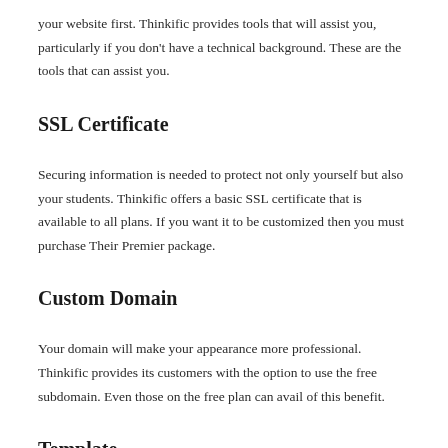your website first. Thinkific provides tools that will assist you, particularly if you don't have a technical background. These are the tools that can assist you.
SSL Certificate
Securing information is needed to protect not only yourself but also your students. Thinkific offers a basic SSL certificate that is available to all plans. If you want it to be customized then you must purchase Their Premier package.
Custom Domain
Your domain will make your appearance more professional. Thinkific provides its customers with the option to use the free subdomain. Even those on the free plan can avail of this benefit.
Template